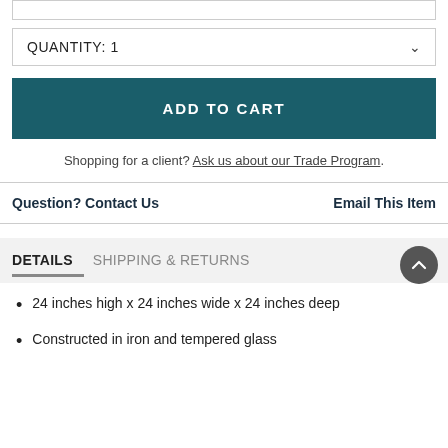QUANTITY: 1
ADD TO CART
Shopping for a client? Ask us about our Trade Program.
Question? Contact Us    Email This Item
DETAILS   SHIPPING & RETURNS
24 inches high x 24 inches wide x 24 inches deep
Constructed in iron and tempered glass